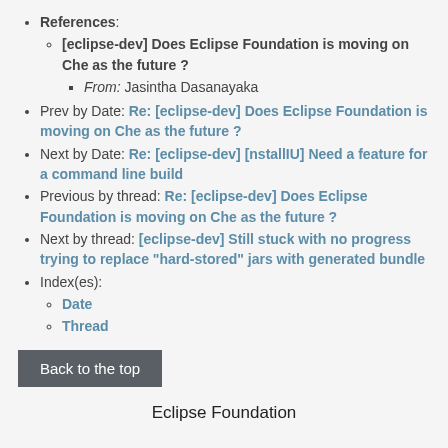References:
[eclipse-dev] Does Eclipse Foundation is moving on Che as the future ?
From: Jasintha Dasanayaka
Prev by Date: Re: [eclipse-dev] Does Eclipse Foundation is moving on Che as the future ?
Next by Date: Re: [eclipse-dev] [nstallIU] Need a feature for a command line build
Previous by thread: Re: [eclipse-dev] Does Eclipse Foundation is moving on Che as the future ?
Next by thread: [eclipse-dev] Still stuck with no progress trying to replace "hard-stored" jars with generated bundle
Index(es):
Date
Thread
Back to the top
Eclipse Foundation